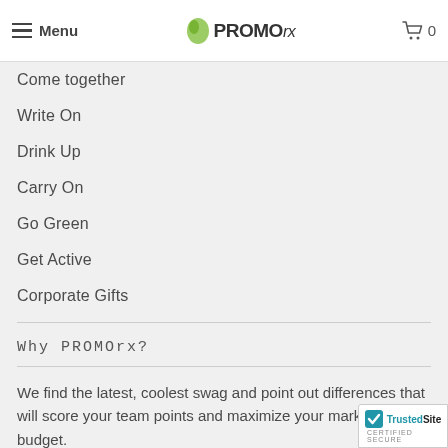Menu | PROMOrx | 0
Come together
Write On
Drink Up
Carry On
Go Green
Get Active
Corporate Gifts
Why PROMOrx?
We find the latest, coolest swag and point out differences that will score your team points and maximize your marketing budget.
Tech is our jam. We use and test many of the
[Figure (logo): TrustedSite certified secure badge]